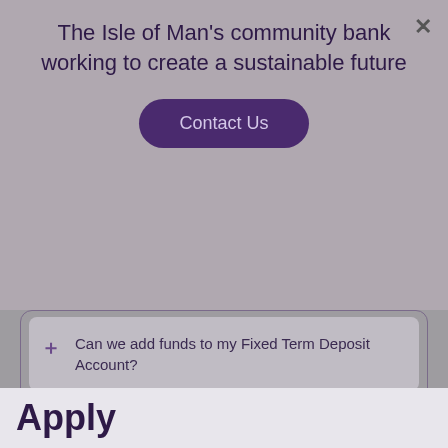The Isle of Man's community bank working to create a sustainable future
Contact Us
Can we add funds to my Fixed Term Deposit Account?
Can we cancel notice on the Notice Deposit Accounts at any time?
Apply